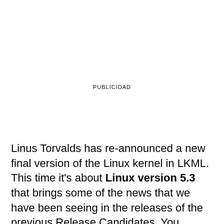PUBLICIDAD
Linus Torvalds has re-announced a new final version of the Linux kernel in LKML. This time it's about Linux version 5.3 that brings some of the news that we have been seeing in the releases of the previous Release Candidates. You already know that there has been an extra RC, they have reached rc8, since Linux considered it necessary. One of the reasons for